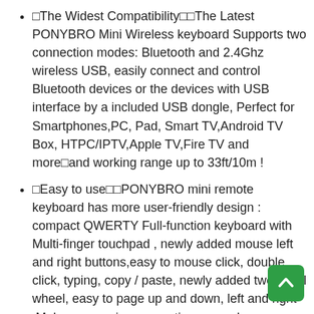🔷The Widest Compatibility🔷🔷The Latest PONYBRO Mini Wireless keyboard Supports two connection modes: Bluetooth and 2.4Ghz wireless USB, easily connect and control Bluetooth devices or the devices with USB interface by a included USB dongle, Perfect for Smartphones,PC, Pad, Smart TV,Android TV Box, HTPC/IPTV,Apple TV,Fire TV and more🔷and working range up to 33ft/10m !
🔷Easy to use🔷🔷PONYBRO mini remote keyboard has more user-friendly design : compact QWERTY Full-function keyboard with Multi-finger touchpad , newly added mouse left and right buttons,easy to mouse click, double click, typing, copy / paste, newly added two scroll wheel, easy to page up and down, left and right ,Make your various operations 🔷used as handheld keyboard🔷remote control or gamepad🔷more convenient and faster🔷
🔷7 colors RGB Backlit and Rechargeable Battery🔷🔷 LED colorful backlight allows you to clearly